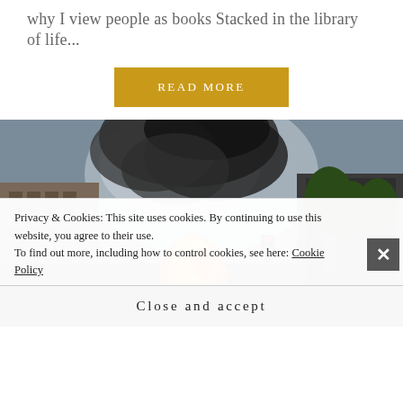why I view people as books Stacked in the library of life...
READ MORE
[Figure (photo): Street scene with a large fire and black smoke billowing upward between city buildings on both sides of a road, with trees visible on the right and parked cars in the distance.]
Privacy & Cookies: This site uses cookies. By continuing to use this website, you agree to their use.
To find out more, including how to control cookies, see here: Cookie Policy
Close and accept